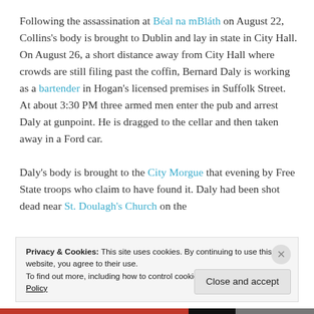Following the assassination at Béal na mBláth on August 22, Collins's body is brought to Dublin and lay in state in City Hall. On August 26, a short distance away from City Hall where crowds are still filing past the coffin, Bernard Daly is working as a bartender in Hogan's licensed premises in Suffolk Street. At about 3:30 PM three armed men enter the pub and arrest Daly at gunpoint. He is dragged to the cellar and then taken away in a Ford car.
Daly's body is brought to the City Morgue that evening by Free State troops who claim to have found it. Daly had been shot dead near St. Doulagh's Church on the
Privacy & Cookies: This site uses cookies. By continuing to use this website, you agree to their use.
To find out more, including how to control cookies, see here: Cookie Policy
Close and accept